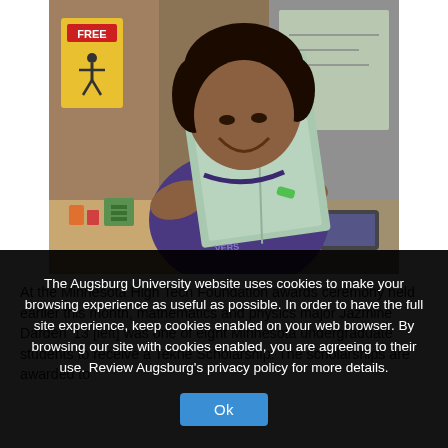[Figure (photo): A smiling young woman with curly hair wearing a purple t-shirt, holding up a light green folder/binder in what appears to be a classroom setting. Background shows a yellow sign with 'FREE' and a school crossing figure, and colorful supplies on a desk.]
At the Minnesota High Tech Foundation awards ceremony held earlier this month, mathematics and physics major Jazmine Darden '13 [left] was one of eight Minnesota undergraduate students to receive a Tekne Scholarship. The scholarships are awarded to
The Augsburg University website uses cookies to make your browsing experience as useful as possible. In order to have the full site experience, keep cookies enabled on your web browser. By browsing our site with cookies enabled, you are agreeing to their use. Review Augsburg's privacy policy for more details.